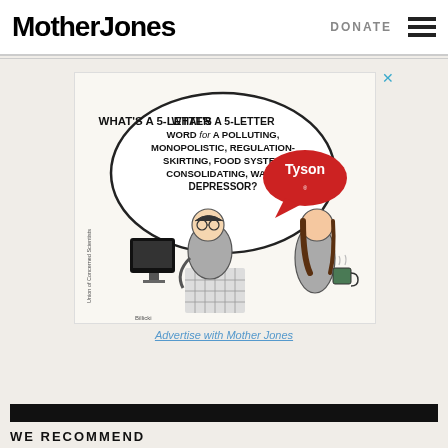Mother Jones | DONATE
[Figure (illustration): Political cartoon advertisement by Union of Concerned Scientists. A man doing a crossword puzzle asks 'WHAT'S A 5-LETTER WORD for A POLLUTING, MONOPOLISTIC, REGULATION-SKIRTING, FOOD SYSTEM CONSOLIDATING, WAGE DEPRESSOR?' with a speech bubble showing 'Tyson' logo nearby. A woman holding a coffee mug stands beside him.]
Advertise with Mother Jones
WE RECOMMEND